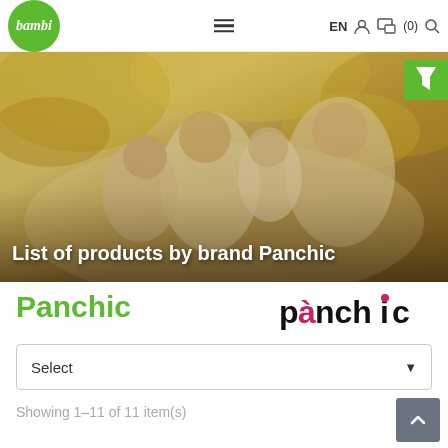bambi — EN ☰ 🛒(0) 🔍
[Figure (photo): Family photo showing parents with two young children in an autumn outdoor setting with yellow/orange foliage in background. Text overlay: 'List of products by brand Panchic']
List of products by brand Panchic
Panchic
[Figure (logo): Panchic brand logo in black text with accent marks: 'pànchic' with red accent on 'à' and red dot on 'i']
Select
Showing 1–11 of 11 item(s)